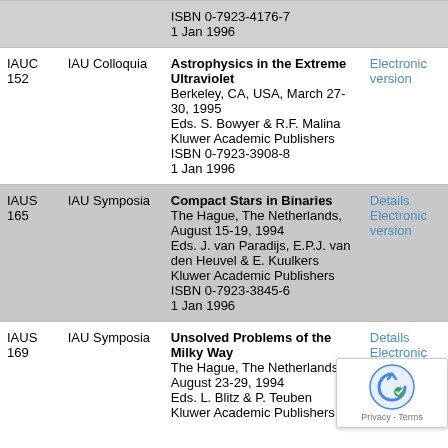| Code | Type | Details | Links |
| --- | --- | --- | --- |
|  |  | ISBN 0-7923-4176-7
1 Jan 1996 |  |
| IAUC 152 | IAU Colloquia | Astrophysics in the Extreme Ultraviolet
Berkeley, CA, USA, March 27-30, 1995
Eds. S. Bowyer & R.F. Malina
Kluwer Academic Publishers
ISBN 0-7923-3908-8
1 Jan 1996 | Electronic version |
| IAUS 165 | IAU Symposia | Compact Stars in Binaries
The Hague, The Netherlands, August 15-19, 1994
Eds. J. van Paradijs, E.P.J. van den Heuvel & E. Kuulkers
Kluwer Academic Publishers
ISBN 0-7923-3845-6
1 Jan 1996 | Details
Electronic version |
| IAUS 169 | IAU Symposia | Unsolved Problems of the Milky Way
The Hague, The Netherlands, August 23-29, 1994
Eds. L. Blitz & P. Teuben
Kluwer Academic Publishers | Details
Electronic version |